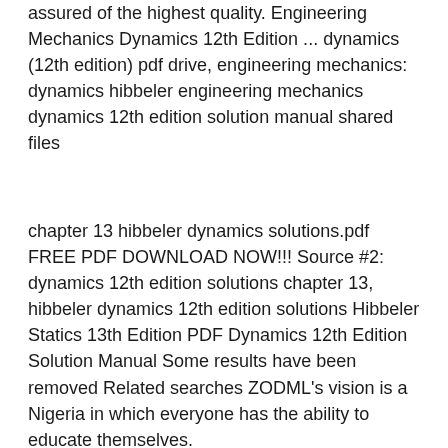assured of the highest quality. Engineering Mechanics Dynamics 12th Edition ... dynamics (12th edition) pdf drive, engineering mechanics: dynamics hibbeler engineering mechanics dynamics 12th edition solution manual shared files
chapter 13 hibbeler dynamics solutions.pdf FREE PDF DOWNLOAD NOW!!! Source #2: dynamics 12th edition solutions chapter 13, hibbeler dynamics 12th edition solutions Hibbeler Statics 13th Edition PDF Dynamics 12th Edition Solution Manual Some results have been removed Related searches ZODML's vision is a Nigeria in which everyone has the ability to educate themselves.